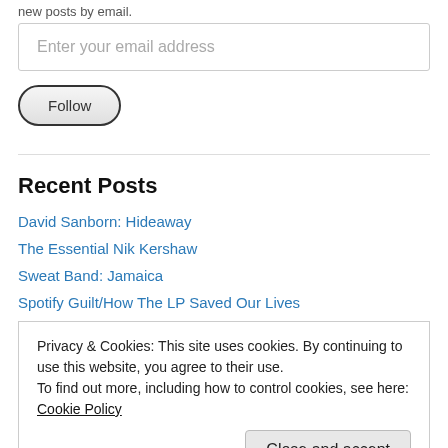new posts by email.
Enter your email address
Follow
Recent Posts
David Sanborn: Hideaway
The Essential Nik Kershaw
Sweat Band: Jamaica
Spotify Guilt/How The LP Saved Our Lives
Privacy & Cookies: This site uses cookies. By continuing to use this website, you agree to their use.
To find out more, including how to control cookies, see here: Cookie Policy
Close and accept
Alex Higgins wins the World Snooker Championship: 40 Years Ago